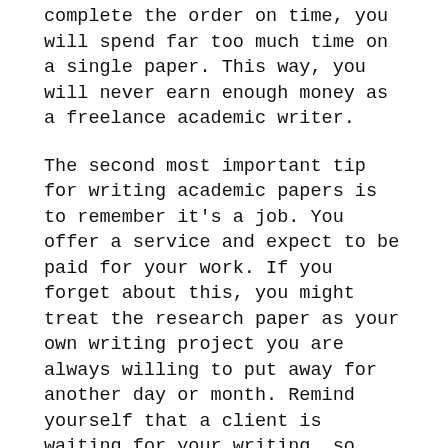complete the order on time, you will spend far too much time on a single paper. This way, you will never earn enough money as a freelance academic writer.
The second most important tip for writing academic papers is to remember it's a job. You offer a service and expect to be paid for your work. If you forget about this, you might treat the research paper as your own writing project you are always willing to put away for another day or month. Remind yourself that a client is waiting for your writing, so there is no time for procrastination, writer's block or the fear of a blank page.
How To Be A Good